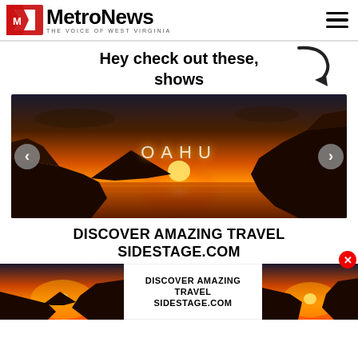[Figure (logo): MetroNews logo with red flag icon and tagline THE VOICE OF WEST VIRGINIA]
Hey check out these, shows
[Figure (photo): Oahu sunset photo showing dramatic orange sky, rocky cliffs, ocean waves, with OAHU text overlay, carousel with left/right navigation buttons]
DISCOVER AMAZING TRAVEL SIDESTAGE.COM
[Figure (photo): Bottom ad row with two sunset thumbnail photos flanking center text: DISCOVER AMAZING TRAVEL SIDESTAGE.COM, with close (X) button]